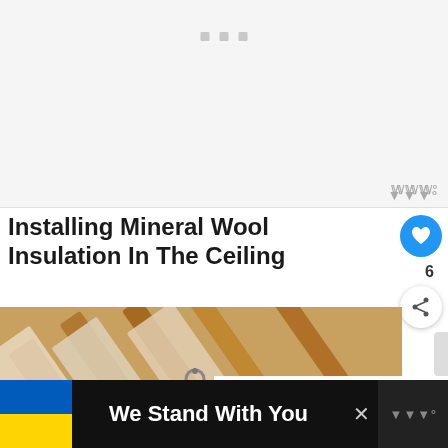[Figure (other): Advertisement placeholder area with light gray background and three small gray square dots at top center]
Installing Mineral Wool Insulation In The Ceiling
[Figure (photo): Photo of wooden ceiling rafters with mineral wool insulation panels installed between them, viewed from below at an angle. A ring hook is visible. In the lower right corner is a 'What's Next' overlay with a thumbnail and text 'Does Mineral Wool...']
[Figure (infographic): Bottom advertisement banner with Ukraine flag colors (blue and yellow), text 'We Stand With You', a close button X, and a Wattpad-style logo on the right]